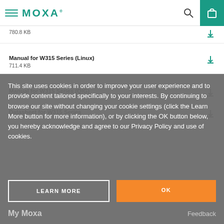MOXA
780.8 KB
Manual for W315 Series (Linux)
711.4 KB
Manual for W315 Series (QIG)
Datasheet for W315 Series
This site uses cookies in order to improve your user experience and to provide content tailored specifically to your interests. By continuing to browse our site without changing your cookie settings (click the Learn More button for more information), or by clicking the OK button below, you hereby acknowledge and agree to our Privacy Policy and use of cookies.
LEARN MORE
OK
My Moxa
Feedback